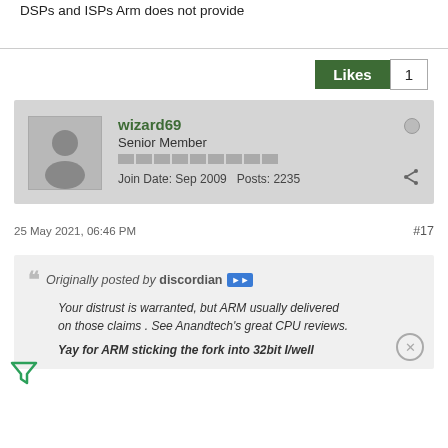DSPs and ISPs Arm does not provide
Likes 1
wizard69
Senior Member
Join Date: Sep 2009  Posts: 2235
25 May 2021, 06:46 PM
#17
Originally posted by discordian
Your distrust is warranted, but ARM usually delivered on those claims . See Anandtech's great CPU reviews.
Yay for ARM sticking the fork into 32bit I/well